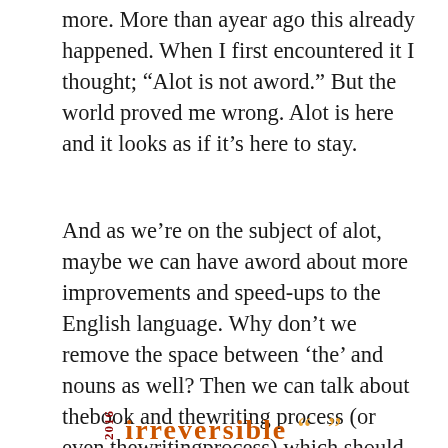more. More than ayear ago this already happened. When I first encountered it I thought; “Alot is not aword.” But the world proved me wrong. Alot is here and it looks as if it’s here to stay.
And as we’re on the subject of alot, maybe we can have aword about more improvements and speed-ups to the English language. Why don’t we remove the space between ‘the’ and nouns as well? Then we can talk about thebook and thewriting process (or even thewritingprocess) which should make the many supporters of alot alot happier.
[Figure (logo): Footer with '2016' in vertical red text, 'irreversible' in orange serif font, and decorative quotation marks in amber/gold]